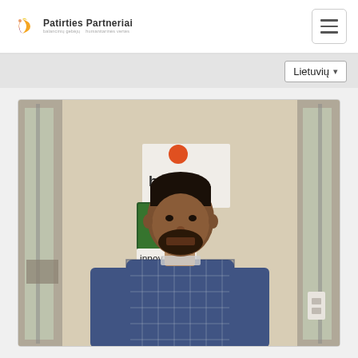Patirties Partneriai — navigation bar with logo and hamburger menu
Lietuvių ▾
[Figure (photo): A young man with dark hair and beard wearing a blue plaid shirt, standing in front of a cream-colored wall with a 'hobl...' logo sign and 'innov...' text sign with green moss panel, and glass door partitions visible on either side.]